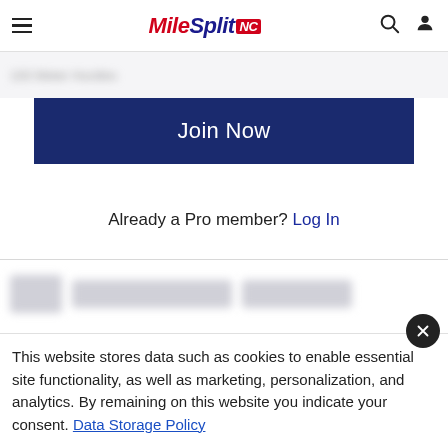MileSplit NC
100 Meter Hurdles (blurred/partially visible)
Join Now
Already a Pro member? Log In
[Figure (other): Blurred content rows (redacted data for non-pro members)]
400 Meter Hurdles
[Figure (other): Blurred content row (redacted data for non-pro members)]
This website stores data such as cookies to enable essential site functionality, as well as marketing, personalization, and analytics. By remaining on this website you indicate your consent. Data Storage Policy